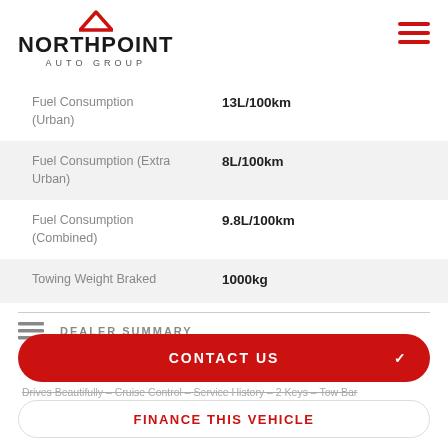[Figure (logo): Northpoint Auto Group logo with red chevron/arrow above the text NORTHPOINT in bold and AUTO GROUP in spaced letters below]
| Fuel Consumption (Urban) | 13L/100km |
| Fuel Consumption (Extra Urban) | 8L/100km |
| Fuel Consumption (Combined) | 9.8L/100km |
| Towing Weight Braked | 1000kg |
DEALER SUMMARY
CONTACT US
Drives Beautifully – Cruise Control – Service History – 2 Keys – Tow Bar
FINANCE THIS VEHICLE